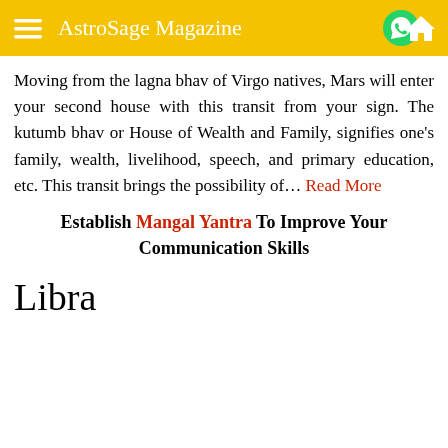AstroSage Magazine
Moving from the lagna bhav of Virgo natives, Mars will enter your second house with this transit from your sign. The kutumb bhav or House of Wealth and Family, signifies one's family, wealth, livelihood, speech, and primary education, etc. This transit brings the possibility of… Read More
Establish Mangal Yantra To Improve Your Communication Skills
Libra